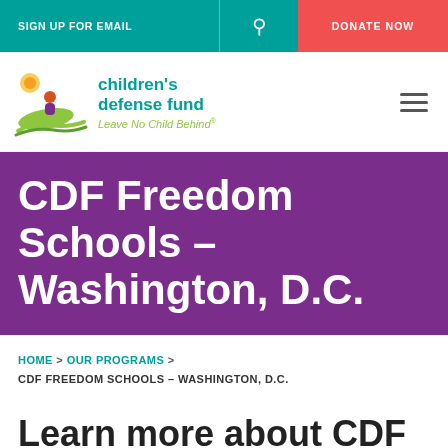SIGN UP FOR EMAIL  [search icon]  DONATE NOW
[Figure (logo): Children's Defense Fund logo with illustrated child on a leaf, teal text 'children's defense fund', green tagline 'Leave No Child Behind']
CDF Freedom Schools – Washington, D.C.
HOME > OUR PROGRAMS > CDF FREEDOM SCHOOLS – WASHINGTON, D.C.
Learn more about CDF